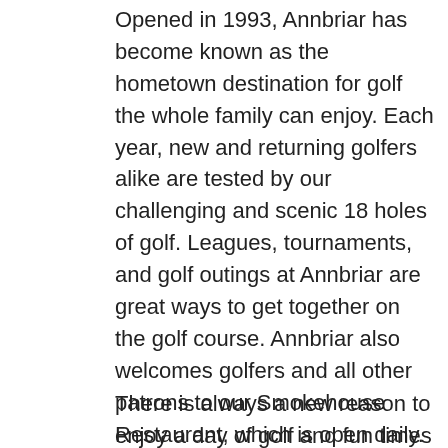Opened in 1993, Annbriar has become known as the hometown destination for golf the whole family can enjoy. Each year, new and returning golfers alike are tested by our challenging and scenic 18 holes of golf. Leagues, tournaments, and golf outings at Annbriar are great ways to get together on the golf course. Annbriar also welcomes golfers and all other patrons to our Smokehouse Restaurant, which is open daily. Our Smokehouse Restaurant is the perfect place to host tournament dinners, family parties, meetings, and other events. Be sure to take a look at what options are available to your group this year. Memberships are available for those interested in enjoying Annbriar to the fullest.
There is always a new reason to enjoy a day of golf and fun times with family and friends at...